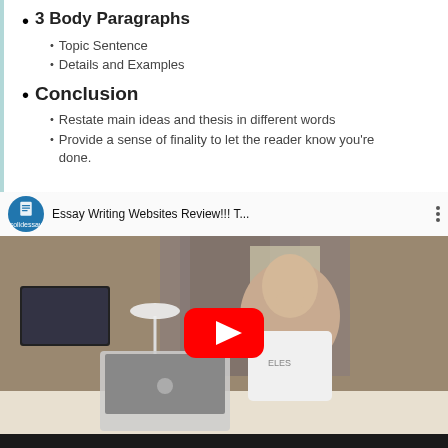3 Body Paragraphs
Topic Sentence
Details and Examples
Conclusion
Restate main ideas and thesis in different words
Provide a sense of finality to let the reader know you're done.
[Figure (screenshot): YouTube video thumbnail showing a man sitting at a desk with a laptop, titled 'Essay Writing Websites Review!!! T...' from the solidessay channel. A red YouTube play button is overlaid in the center.]